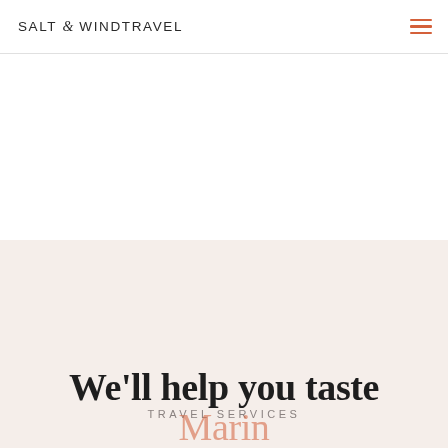SALT & WIND TRAVEL
[Figure (other): White blank area below header]
TRAVEL SERVICES
We'll help you taste
Marin...